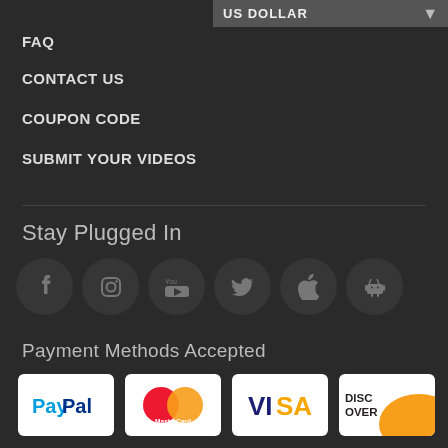US DOLLAR
FAQ
CONTACT US
COUPON CODE
SUBMIT YOUR VIDEOS
Stay Plugged In
[Figure (infographic): Six social media/platform icons in dark circles: Facebook, Instagram, YouTube, Twitter, Apple, Android]
Payment Methods Accepted
[Figure (infographic): Four payment method logos: PayPal, MasterCard, VISA, DISCOVER]